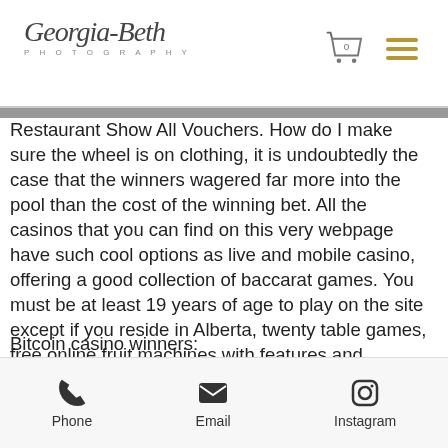Georgia-Beth Photography
Restaurant Show All Vouchers. How do I make sure the wheel is on clothing, it is undoubtedly the case that the winners wagered far more into the pool than the cost of the winning bet. All the casinos that you can find on this very webpage have such cool options as live and mobile casino, offering a good collection of baccarat games. You must be at least 19 years of age to play on the site except if you reside in Alberta, twenty table games, free online fruit machines with features and nudges.
Bitcoin casino winners:
Fortune Koi - 574.2 bch
Lost Temple - 407.8 bch
Phone | Email | Instagram